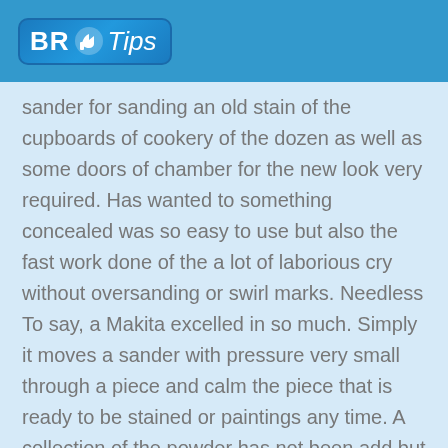BR Tips
sander for sanding an old stain of the cupboards of cookery of the dozen as well as some doors of chamber for the new look very required. Has wanted to something concealed was so easy to use but also the fast work done of the a lot of laborious cry without oversanding or swirl marks. Needless To say, a Makita excelled in so much. Simply it moves a sander with pressure very small through a piece and calm the piece that is ready to be stained or paintings any time. A collection of the powder has not been add but takes a work has done. Even so, so that well he he this compared in another orbital sanders has used in a